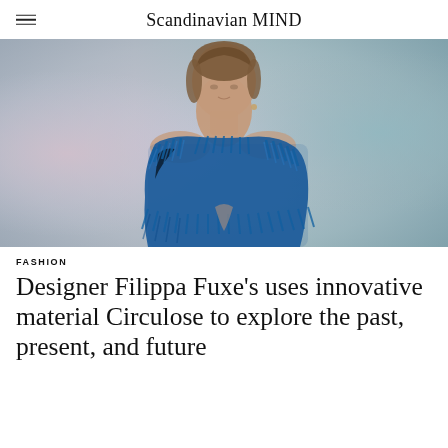Scandinavian MIND
[Figure (photo): Fashion editorial photo of a young woman with short hair wearing a textured blue fringed top/garment, posed against a soft pastel gradient background of lavender, pink, and teal.]
FASHION
Designer Filippa Fuxe's uses innovative material Circulose to explore the past, present, and future